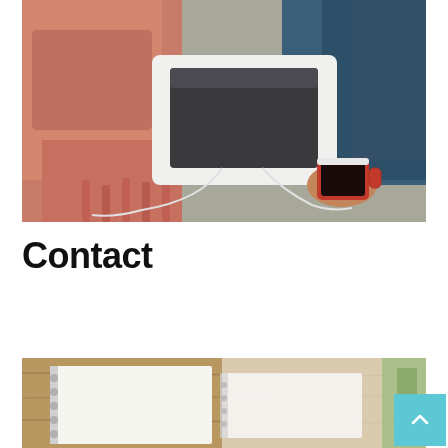[Figure (photo): Overhead view of person sitting on a bed with a white tablet/iPad, red and white earphones, a red mug of coffee/tea, wearing jeans, with a pink/coral fuzzy blanket and grey bedding]
Contact
[Figure (photo): Partial view of a desk or table with a spiral notebook, blurred background with plants, wooden surface visible]